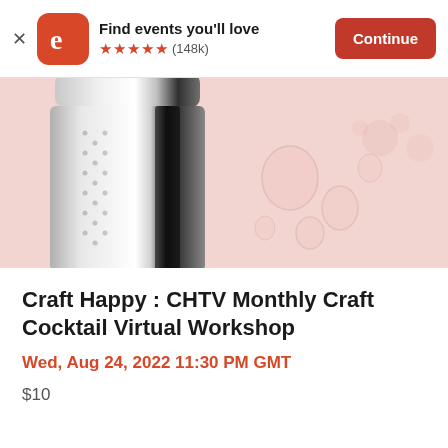[Figure (screenshot): Eventbrite app banner with logo, 'Find events you'll love' text, 5 star rating (148k reviews), and Continue button]
[Figure (photo): Close-up photo of a silver cocktail shaker on a pastel pink background with ice and bokeh bubbles]
Craft Happy : CHTV Monthly Craft Cocktail Virtual Workshop
Wed, Aug 24, 2022 11:30 PM GMT
$10